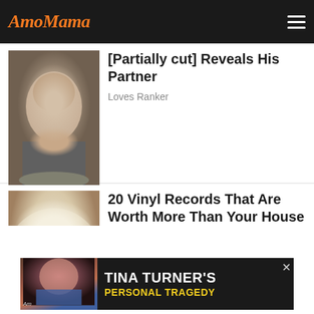AmoMama
[Partially cut] Reveals His Partner
Loves Ranker
[Figure (photo): Photo of a dark-haired man in a suit, looking directly at camera]
20 Vinyl Records That Are Worth More Than Your House
FitDib
[Figure (photo): Photo of a blonde woman with glamorous hair, soft-focus portrait style]
[Figure (photo): Advertisement banner: Tina Turner's Personal Tragedy with photo of woman singing]